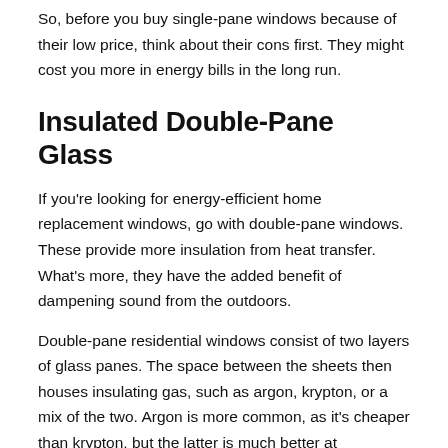So, before you buy single-pane windows because of their low price, think about their cons first. They might cost you more in energy bills in the long run.
Insulated Double-Pane Glass
If you're looking for energy-efficient home replacement windows, go with double-pane windows. These provide more insulation from heat transfer. What's more, they have the added benefit of dampening sound from the outdoors.
Double-pane residential windows consist of two layers of glass panes. The space between the sheets then houses insulating gas, such as argon, krypton, or a mix of the two. Argon is more common, as it's cheaper than krypton, but the latter is much better at insulating.